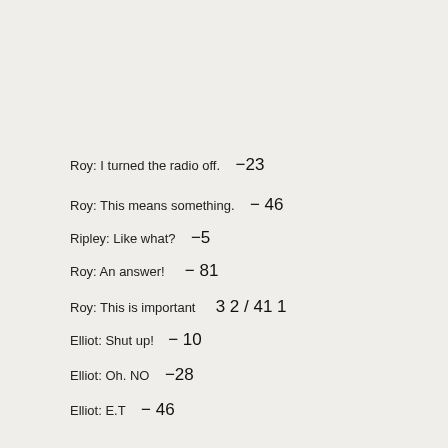Roy: I turned the radio off.  -23
Roy: This means something.  -46
Ripley: Like what?  -5
Roy: An answer!  -81
Roy: This is important  32/41 1
Elliot: Shut up!  -10
Elliot: Oh. NO  -28
Elliot: E.T  -46